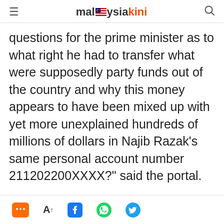malaysiakini
questions for the prime minister as to what right he had to transfer what were supposedly party funds out of the country and why this money appears to have been mixed up with yet more unexplained hundreds of millions of dollars in Najib Razak's same personal account number 211202200XXXX?" said the portal.
Sarawak Report said Najib had distributed some of this funds as political handouts to BN MPs but it also raised the issue for the Umno